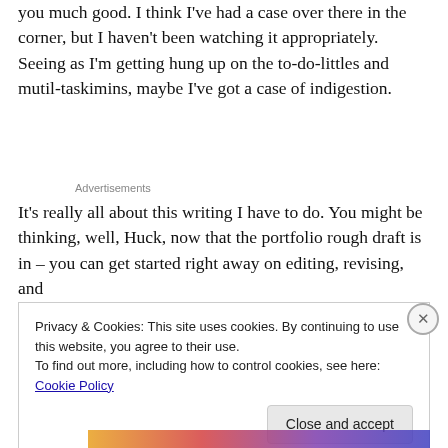you much good. I think I've had a case over there in the corner, but I haven't been watching it appropriately. Seeing as I'm getting hung up on the to-do-littles and mutil-taskimins, maybe I've got a case of indigestion.
Advertisements
It's really all about this writing I have to do. You might be thinking, well, Huck, now that the portfolio rough draft is in – you can get started right away on editing, revising, and
Privacy & Cookies: This site uses cookies. By continuing to use this website, you agree to their use.
To find out more, including how to control cookies, see here: Cookie Policy

Close and accept